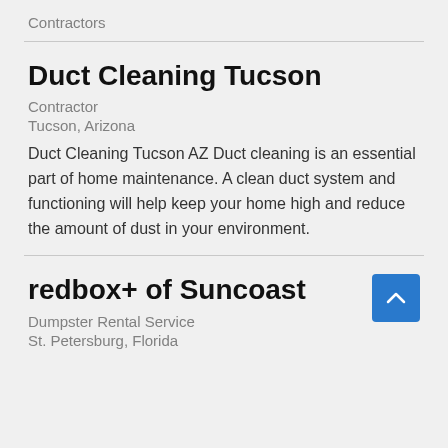Contractors
Duct Cleaning Tucson
Contractor
Tucson, Arizona
Duct Cleaning Tucson AZ Duct cleaning is an essential part of home maintenance. A clean duct system and functioning will help keep your home high and reduce the amount of dust in your environment.
redbox+ of Suncoast
Dumpster Rental Service
St. Petersburg, Florida